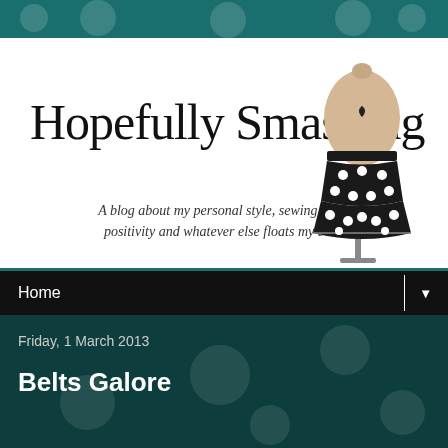[Figure (illustration): Teal decorative header band with white polka dot pattern]
[Figure (illustration): Blog banner with title 'Hopefully Smashing', subtitle text, and illustration of a dress form mannequin wearing a black polka dot skirt]
Hopefully Smashing
A blog about my personal style, sewing, body positivity and whatever else floats my boat.
Home
Friday, 1 March 2013
Belts Galore